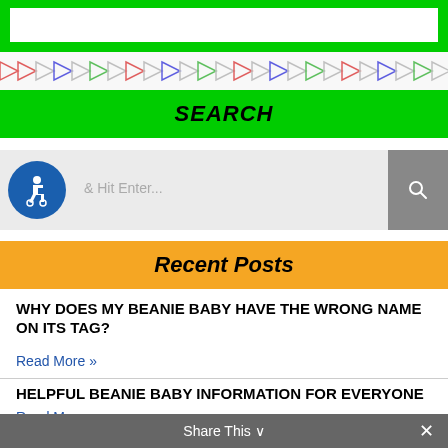[Figure (screenshot): Green search input bar at top of page with white text field]
[Figure (illustration): Decorative banner with colorful geometric arrow/chevron patterns on white background]
SEARCH
[Figure (screenshot): Search input area with blue accessibility icon (wheelchair symbol), placeholder text '& Hit Enter...', and grey search button with magnifying glass icon]
Recent Posts
WHY DOES MY BEANIE BABY HAVE THE WRONG NAME ON ITS TAG?
Read More »
HELPFUL BEANIE BABY INFORMATION FOR EVERYONE
Read More »
BBOM – BEANIE BABY OF THE MONTH PROGRAM
Share This ∨  ×